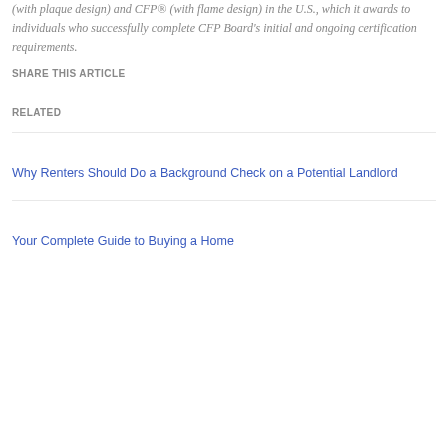(with plaque design) and CFP® (with flame design) in the U.S., which it awards to individuals who successfully complete CFP Board's initial and ongoing certification requirements.
SHARE THIS ARTICLE
RELATED
Why Renters Should Do a Background Check on a Potential Landlord
Your Complete Guide to Buying a Home